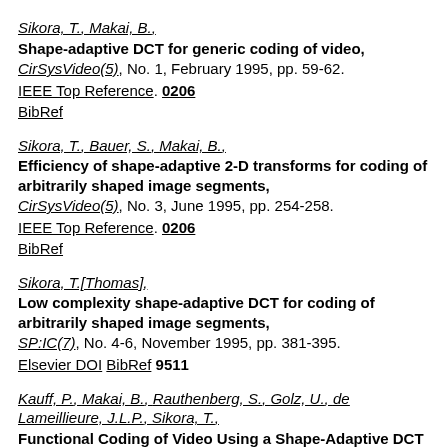Sikora, T., Makai, B., Shape-adaptive DCT for generic coding of video, CirSysVideo(5), No. 1, February 1995, pp. 59-62. IEEE Top Reference. 0206 BibRef
Sikora, T., Bauer, S., Makai, B., Efficiency of shape-adaptive 2-D transforms for coding of arbitrarily shaped image segments, CirSysVideo(5), No. 3, June 1995, pp. 254-258. IEEE Top Reference. 0206 BibRef
Sikora, T.[Thomas], Low complexity shape-adaptive DCT for coding of arbitrarily shaped image segments, SP:IC(7), No. 4-6, November 1995, pp. 381-395. Elsevier DOI BibRef 9511
Kauff, P., Makai, B., Rauthenberg, S., Golz, U., de Lameillieure, J.L.P., Sikora, T., Functional Coding of Video Using a Shape-Adaptive DCT Algorithm and an Object-Based Motion Prediction Toolbox, CirSysVideo(7), No. 1, February 1997, pp. 181-196.